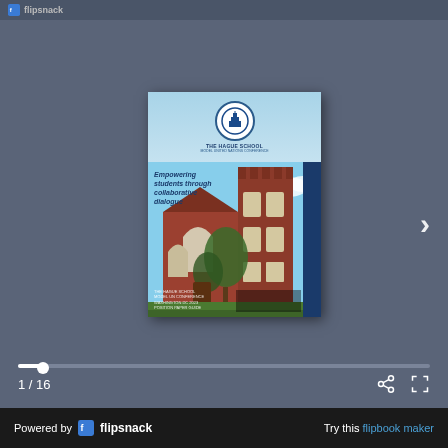flipsnack
[Figure (screenshot): Flipsnack digital flipbook viewer showing The Hague School brochure cover. The cover features a photo of a red brick Gothic-style school building, The Hague School logo in a circular emblem, and the tagline 'Empowering students through collaborative dialogue'. Navigation arrow visible on the right.]
1 / 16
Powered by flipsnack   Try this flipbook maker